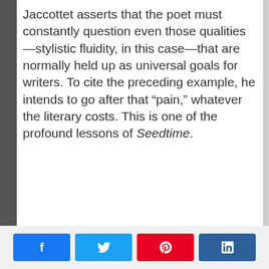Jaccottet asserts that the poet must constantly question even those qualities—stylistic fluidity, in this case—that are normally held up as universal goals for writers. To cite the preceding example, he intends to go after that “pain,” whatever the literary costs. This is one of the profound lessons of Seedtime.
[Figure (other): Social sharing buttons: Facebook (blue), Twitter (light blue), Pinterest (red), LinkedIn (dark blue)]